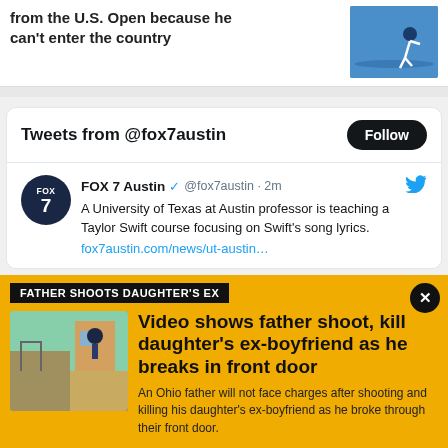from the U.S. Open because he can't enter the country
[Figure (photo): Tennis player in action on a blue court]
Tweets from @fox7austin
Follow
FOX 7 Austin @fox7austin · 2m
A University of Texas at Austin professor is teaching a Taylor Swift course focusing on Swift's song lyrics. fox7austin.com/news/ut-austin…
FATHER SHOOTS DAUGHTER'S EX
[Figure (photo): Outdoor scene with gate/fence and person]
Video shows father shoot, kill daughter's ex-boyfriend as he breaks in front door
An Ohio father will not face charges after shooting and killing his daughter's ex-boyfriend as he broke through their front door.